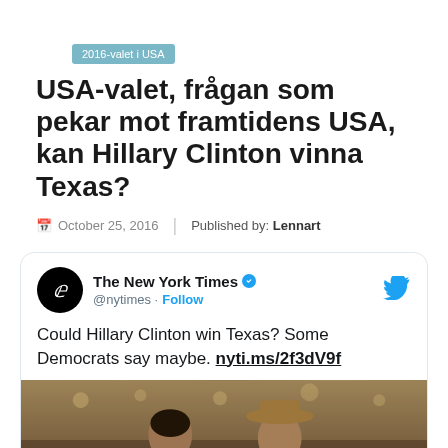2016-valet i USA
USA-valet, frågan som pekar mot framtidens USA, kan Hillary Clinton vinna Texas?
October 25, 2016  |  Published by: Lennart
[Figure (screenshot): Embedded tweet from @nytimes: 'Could Hillary Clinton win Texas? Some Democrats say maybe. nyti.ms/2f3dV9f' with a photo of two people in a bar setting.]